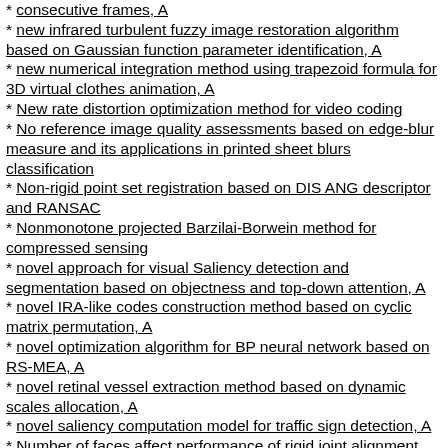consecutive frames, A
new infrared turbulent fuzzy image restoration algorithm based on Gaussian function parameter identification, A
new numerical integration method using trapezoid formula for 3D virtual clothes animation, A
New rate distortion optimization method for video coding
No reference image quality assessments based on edge-blur measure and its applications in printed sheet blurs classification
Non-rigid point set registration based on DIS ANG descriptor and RANSAC
Nonmonotone projected Barzilai-Borwein method for compressed sensing
novel approach for visual Saliency detection and segmentation based on objectness and top-down attention, A
novel IRA-like codes construction method based on cyclic matrix permutation, A
novel optimization algorithm for BP neural network based on RS-MEA, A
novel retinal vessel extraction method based on dynamic scales allocation, A
novel saliency computation model for traffic sign detection, A
Number of faces affect performance of rigid joint alignment
Optimal algorithm for maximizing shared lifetime for target...